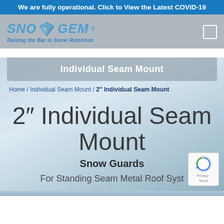We are fully operational. Click to View the Latest COVID-19
[Figure (logo): SNO GEM logo with diamond gem icon and tagline 'Raising the Bar in Snow Retention']
Individual Seam Mount
Home / Individual Seam Mount / 2" Individual Seam Mount
2" Individual Seam Mount
Snow Guards
For Standing Seam Metal Roof Syst...